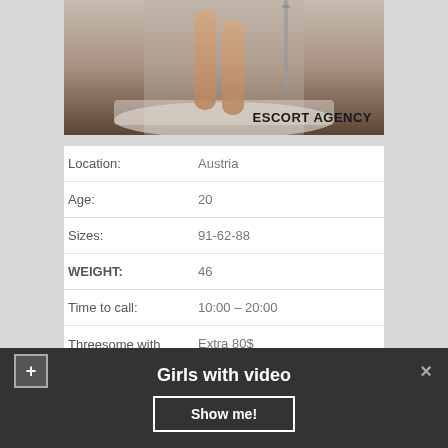[Figure (photo): Photo of a person in a bathtub/shower setting with 'ESCORT AGENCY' text overlay]
| Location: | Austria |
| Age: | 20 |
| Sizes: | 91-62-88 |
| WEIGHT: | 46 |
| Time to call: | 10:00 – 20:00 |
| Threesome with lesbians: | Extra 80$ |
Girls with video
Show me!